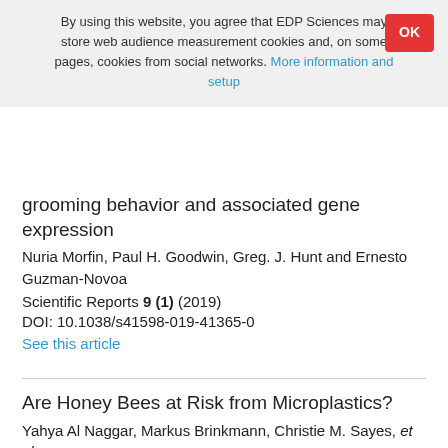By using this website, you agree that EDP Sciences may store web audience measurement cookies and, on some pages, cookies from social networks. More information and setup
grooming behavior and associated gene expression
Nuria Morfin, Paul H. Goodwin, Greg. J. Hunt and Ernesto Guzman-Novoa
Scientific Reports 9 (1) (2019)
DOI: 10.1038/s41598-019-41365-0
See this article
Are Honey Bees at Risk from Microplastics?
Yahya Al Naggar, Markus Brinkmann, Christie M. Sayes, et al.
Toxics 9 (5) 109 (2021)
DOI: 10.3390/toxics9050109
See this article